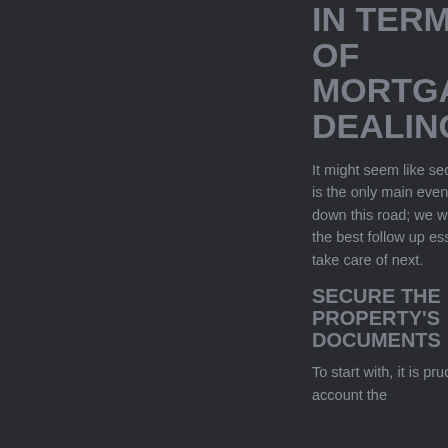IN TERMS OF MORTGAGE DEALINGS,
It might seem like securing the house is the only main event, but a few steps down this road; we will look at some of the best follow up essentials to do take care of next.
SECURE THE PROPERTY'S DOCUMENTS
To start with, it is prudent to take into account the
20 Lifehacks For Around Your Home
How You Can Increase the Value of Your Home
How Australian Mortgage Rates